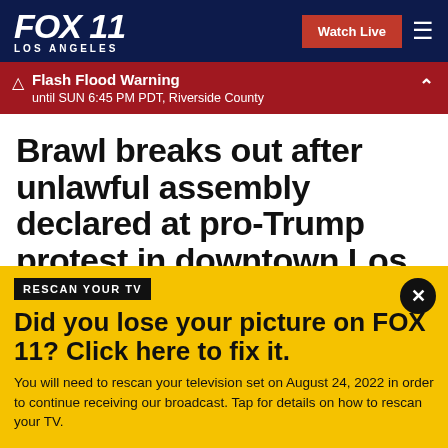FOX 11 LOS ANGELES — Watch Live
⚠ Flash Flood Warning until SUN 6:45 PM PDT, Riverside County
Brawl breaks out after unlawful assembly declared at pro-Trump protest in downtown Los Angeles
RESCAN YOUR TV
Did you lose your picture on FOX 11? Click here to fix it.
You will need to rescan your television set on August 24, 2022 in order to continue receiving our broadcast. Tap for details on how to rescan your TV.